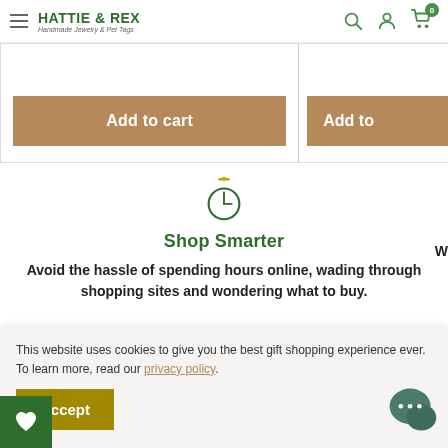HATTIE & REX — Handmade Jewelry & Pet Tags
[Figure (screenshot): Two 'Add to cart' buttons for product cards; left card fully visible, right card partially cut off]
[Figure (illustration): Stopwatch/timer icon in green and gold]
Shop Smarter
Avoid the hassle of spending hours online, wading through shopping sites and wondering what to buy.
This website uses cookies to give you the best gift shopping experience ever.  To learn more, read our privacy policy.
[Figure (illustration): Chat bubble icon in dark green]
[Figure (illustration): Heart/wishlist icon in white on green background]